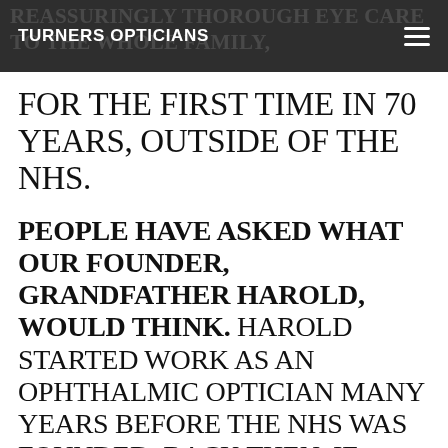TURNERS OPTICIANS
FOR THE FIRST TIME IN 70 YEARS, OUTSIDE OF THE NHS.
PEOPLE HAVE ASKED WHAT OUR FOUNDER, GRANDFATHER HAROLD, WOULD THINK. HAROLD STARTED WORK AS AN OPHTHALMIC OPTICIAN MANY YEARS BEFORE THE NHS WAS FOUNDED. BACK THEN, IF HEALTH CARE PROFESSIONALS DIDN'T ASK A FAIR FEE FOR THEIR TIME, THEIR FAMILIES